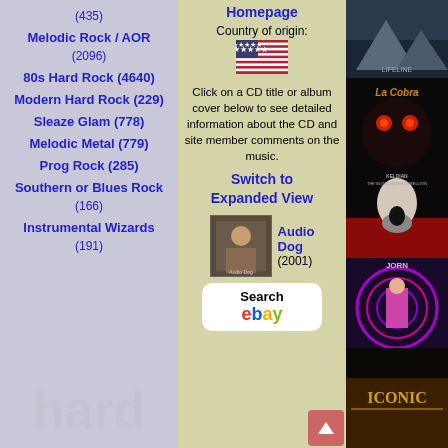(435)
Melodic Rock / AOR (2096)
80s Hard Rock (4640)
Modern Hard Rock (229)
Sleaze Glam (778)
Melodic Metal (779)
Prog Rock (285)
Southern or Blues Rock (166)
Instrumental Wizards (191)
Homepage
Country of origin:
Click on a CD title or album cover below to see detailed information about the CD and site member comments on the music.
Switch to Expanded View
Audio Dog (2001)
Search ebay
[Figure (photo): Album cover thumbnail for Audio Dog]
[Figure (photo): Album cover - top right (mountain/Lifeline)]
[Figure (photo): Album cover - La Cobra]
[Figure (photo): Album cover - Keldian The Bloodhater Rebellion]
[Figure (photo): Album cover - Jorn]
[Figure (photo): Album cover - Iconic]